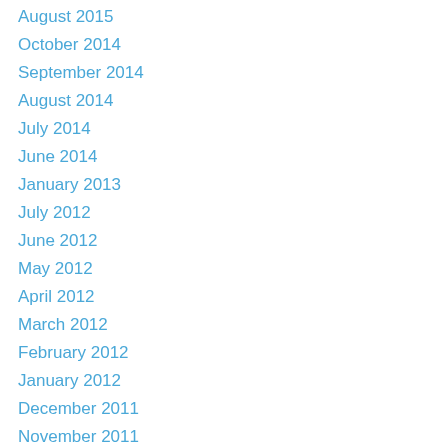August 2015
October 2014
September 2014
August 2014
July 2014
June 2014
January 2013
July 2012
June 2012
May 2012
April 2012
March 2012
February 2012
January 2012
December 2011
November 2011
October 2011
September 2011
August 2011
July 2011